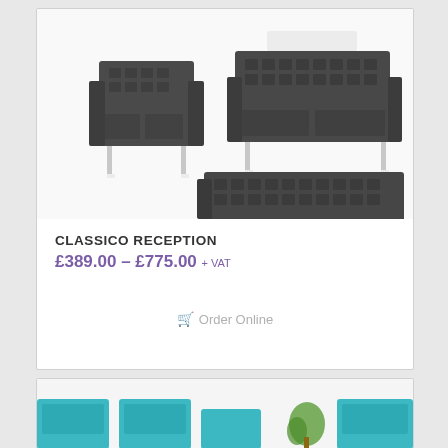[Figure (photo): Three dark grey/black tufted leather reception sofas and armchair set with chrome legs shown from different angles - single armchair top left, two-seater sofa top right, three-seater sofa bottom center]
CLASSICO RECEPTION
£389.00 – £775.00 + VAT
Order Online
[Figure (photo): Partial view of teal/turquoise office seating with a plant visible, bottom card]